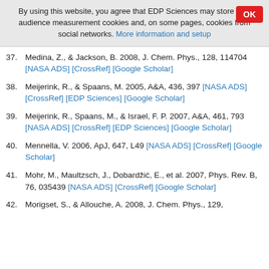By using this website, you agree that EDP Sciences may store web audience measurement cookies and, on some pages, cookies from social networks. More information and setup
37. Medina, Z., & Jackson, B. 2008, J. Chem. Phys., 128, 114704 [NASA ADS] [CrossRef] [Google Scholar]
38. Meijerink, R., & Spaans, M. 2005, A&A, 436, 397 [NASA ADS] [CrossRef] [EDP Sciences] [Google Scholar]
39. Meijerink, R., Spaans, M., & Israel, F. P. 2007, A&A, 461, 793 [NASA ADS] [CrossRef] [EDP Sciences] [Google Scholar]
40. Mennella, V. 2006, ApJ, 647, L49 [NASA ADS] [CrossRef] [Google Scholar]
41. Mohr, M., Maultzsch, J., Dobardžić, E., et al. 2007, Phys. Rev. B, 76, 035439 [NASA ADS] [CrossRef] [Google Scholar]
42. Morigset, S., & Allouche, A. 2008, J. Chem. Phys., 129,